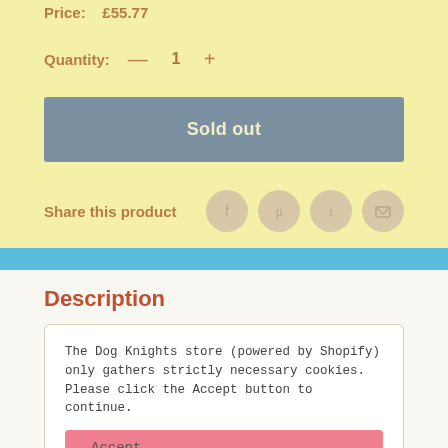Price: £55.77
Quantity: — 1 +
Sold out
Share this product
Description
The Dog Knights store (powered by Shopify) only gathers strictly necessary cookies. Please click the Accept button to continue.
Accept
be redeemed from the dispatch confirmation email once your order has